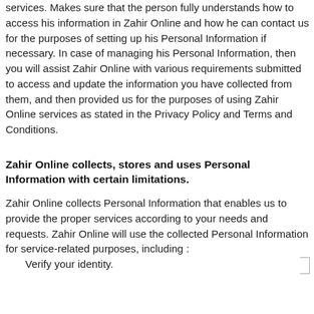services. Makes sure that the person fully understands how to access his information in Zahir Online and how he can contact us for the purposes of setting up his Personal Information if necessary. In case of managing his Personal Information, then you will assist Zahir Online with various requirements submitted to access and update the information you have collected from them, and then provided us for the purposes of using Zahir Online services as stated in the Privacy Policy and Terms and Conditions.
Zahir Online collects, stores and uses Personal Information with certain limitations.
Zahir Online collects Personal Information that enables us to provide the proper services according to your needs and requests. Zahir Online will use the collected Personal Information for service-related purposes, including :
Verify your identity.